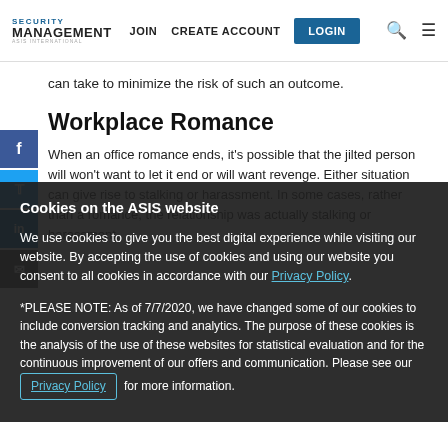SECURITY MANAGEMENT | JOIN | CREATE ACCOUNT | LOGIN
can take to minimize the risk of such an outcome.
Workplace Romance
When an office romance ends, it's possible that the jilted person will won't want to let it end or will want revenge. Either situation can give rise to stalking or harassment. In some cases, rather than a romance, the relationship was actually stalking or harassment.
Cookies on the ASIS website
We use cookies to give you the best digital experience while visiting our website. By accepting the use of cookies and using our website you consent to all cookies in accordance with our Privacy Policy.
*PLEASE NOTE: As of 7/7/2020, we have changed some of our cookies to include conversion tracking and analytics. The purpose of these cookies is the analysis of the use of these websites for statistical evaluation and for the continuous improvement of our offers and communication. Please see our Privacy Policy for more information.
In romantic relationships, however, in situations where there is a romantic relationship between a supervisor and a subordinate, an employer